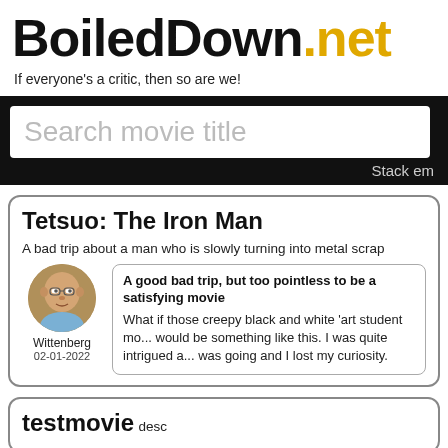BoiledDown.net
If everyone's a critic, then so are we!
[Figure (screenshot): Search bar with placeholder text 'Search movie title' on dark background, with 'Stack em' text partially visible]
Tetsuo: The Iron Man
A bad trip about a man who is slowly turning into metal scrap
A good bad trip, but too pointless to be a satisfying movie - What if those creepy black and white 'art student movies would be something like this. I was quite intrigued at first but after a while I didn't know where it was going and I lost my curiosity.
Wittenberg
02-01-2022
testmovie
desc